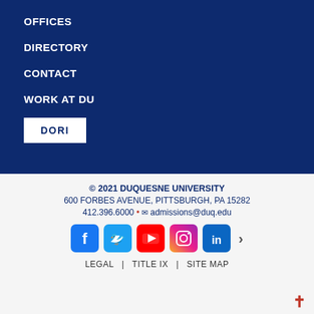OFFICES
DIRECTORY
CONTACT
WORK AT DU
DORI
© 2021 DUQUESNE UNIVERSITY
600 FORBES AVENUE, PITTSBURGH, PA 15282
412.396.6000 • admissions@duq.edu
[Figure (other): Social media icons row: Facebook, Twitter, YouTube, Instagram, LinkedIn, with a right arrow]
LEGAL   |   TITLE IX   |   SITE MAP